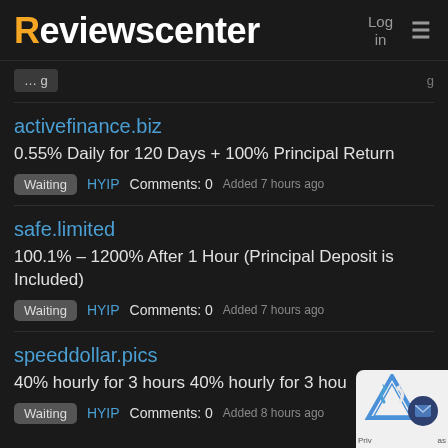Reviewscenter  Log in  ≡
activefinance.biz
0.55% Daily for 120 Days + 100% Principal Return
Waiting  HYIP  Comments: 0  Added 7 hours ago
safe.limited
100.1% – 1200% After 1 Hour (Principal Deposit is Included)
Waiting  HYIP  Comments: 0  Added 7 hours ago
speeddollar.pics
40% hourly for 3 hours 40% hourly for 3 hou
Waiting  HYIP  Comments: 0  Added 8 hours ago